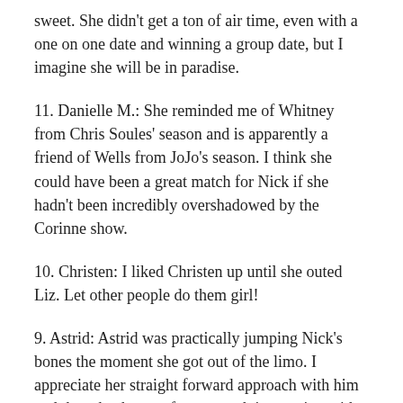sweet. She didn't get a ton of air time, even with a one on one date and winning a group date, but I imagine she will be in paradise.
11. Danielle M.: She reminded me of Whitney from Chris Soules' season and is apparently a friend of Wells from JoJo's season. I think she could have been a great match for Nick if she hadn't been incredibly overshadowed by the Corinne show.
10. Christen: I liked Christen up until she outed Liz. Let other people do them girl!
9. Astrid: Astrid was practically jumping Nick's bones the moment she got out of the limo. I appreciate her straight forward approach with him and thought she was fun to watch interacting with the others.
8. Whitney: I spent a majority of the season wondering